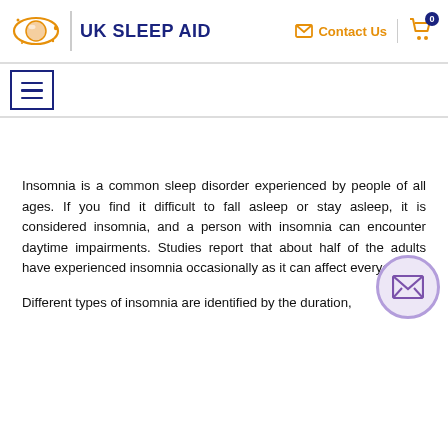[Figure (logo): UK Sleep Aid logo with orange orbital/planet icon, vertical divider, and bold navy text 'UK SLEEP AID']
[Figure (other): Contact Us link with envelope icon and shopping cart icon with badge '0' in navy]
[Figure (other): Hamburger menu icon (three horizontal lines) in a navy border box]
Insomnia is a common sleep disorder experienced by people of all ages. If you find it difficult to fall asleep or stay asleep, it is considered insomnia, and a person with insomnia can encounter daytime impairments. Studies report that about half of the adults have experienced insomnia occasionally as it can affect everyone.
Different types of insomnia are identified by the duration,